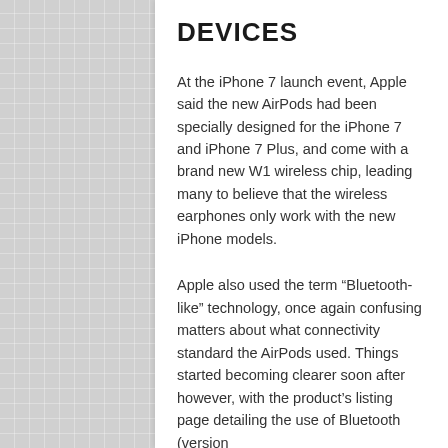DEVICES
At the iPhone 7 launch event, Apple said the new AirPods had been specially designed for the iPhone 7 and iPhone 7 Plus, and come with a brand new W1 wireless chip, leading many to believe that the wireless earphones only work with the new iPhone models.
Apple also used the term “Bluetooth-like” technology, once again confusing matters about what connectivity standard the AirPods used. Things started becoming clearer soon after however, with the product’s listing page detailing the use of Bluetooth (version